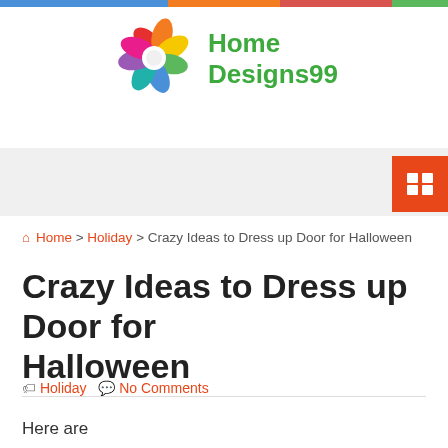[Figure (logo): HomeDesigns99 logo with colorful flower/pinwheel icon and green text]
[Figure (other): Navigation bar with orange/red grid menu button icon on right]
Home > Holiday > Crazy Ideas to Dress up Door for Halloween
Crazy Ideas to Dress up Door for Halloween
Holiday  No Comments
Here are some crazy ideas to decorate your door